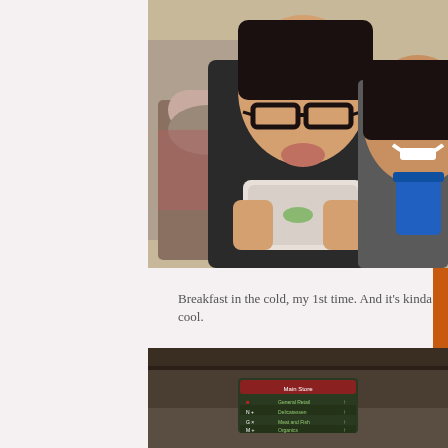[Figure (photo): Two young women posing outdoors in cold weather. One with glasses making a pouty face holding a wrapped food item, the other smiling holding a blue cup. People visible in background.]
Breakfast in the cold, my 1st time. And it’s kinda cool.
[Figure (photo): Interior shot of a large store or market with a dark ceiling and a green directional sign in the center listing departments including General Retail, Delicatessen, Meat and Fish, Organics with arrows.]